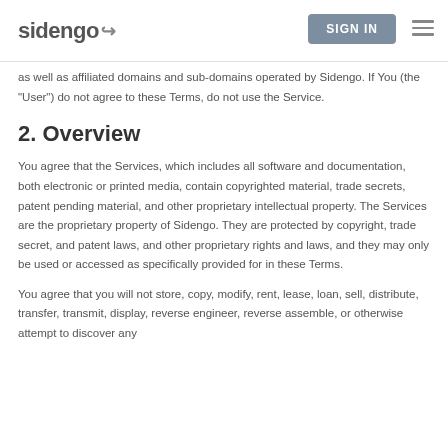sidengo | SIGN IN
as well as affiliated domains and sub-domains operated by Sidengo. If You (the "User") do not agree to these Terms, do not use the Service.
2. Overview
You agree that the Services, which includes all software and documentation, both electronic or printed media, contain copyrighted material, trade secrets, patent pending material, and other proprietary intellectual property. The Services are the proprietary property of Sidengo. They are protected by copyright, trade secret, and patent laws, and other proprietary rights and laws, and they may only be used or accessed as specifically provided for in these Terms.
You agree that you will not store, copy, modify, rent, lease, loan, sell, distribute, transfer, transmit, display, reverse engineer, reverse assemble, or otherwise attempt to discover any